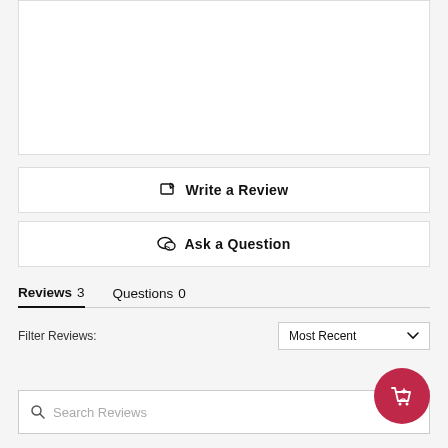[Figure (screenshot): White content box area at top of page]
Write a Review
Ask a Question
Reviews 3
Questions 0
Filter Reviews:
Most Recent
Search Reviews